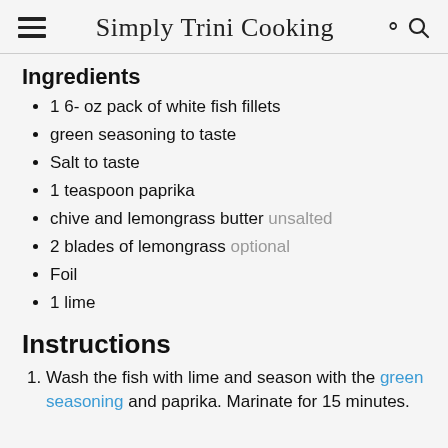Simply Trini Cooking
Ingredients
1 6- oz pack of white fish fillets
green seasoning to taste
Salt to taste
1 teaspoon paprika
chive and lemongrass butter unsalted
2 blades of lemongrass optional
Foil
1 lime
Instructions
Wash the fish with lime and season with the green seasoning and paprika. Marinate for 15 minutes.